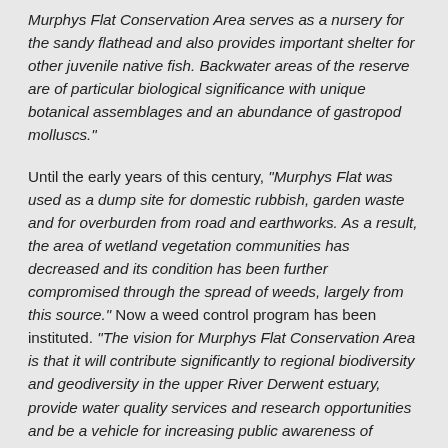Murphys Flat Conservation Area serves as a nursery for the sandy flathead and also provides important shelter for other juvenile native fish. Backwater areas of the reserve are of particular biological significance with unique botanical assemblages and an abundance of gastropod molluscs."
Until the early years of this century, "Murphys Flat was used as a dump site for domestic rubbish, garden waste and for overburden from road and earthworks. As a result, the area of wetland vegetation communities has decreased and its condition has been further compromised through the spread of weeds, largely from this source." Now a weed control program has been instituted. "The vision for Murphys Flat Conservation Area is that it will contribute significantly to regional biodiversity and geodiversity in the upper River Derwent estuary, provide water quality services and research opportunities and be a vehicle for increasing public awareness of wetland values."